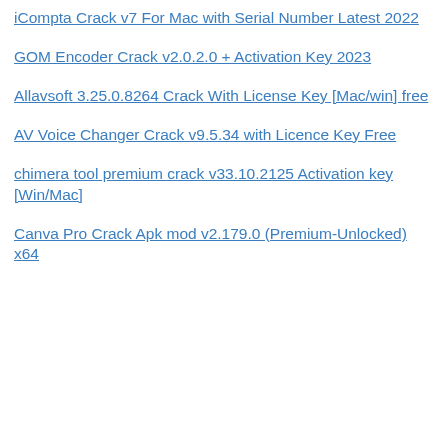iCompta Crack v7 For Mac with Serial Number Latest 2022
GOM Encoder Crack v2.0.2.0 + Activation Key 2023
Allavsoft 3.25.0.8264 Crack With License Key [Mac/win] free
AV Voice Changer Crack v9.5.34 with Licence Key Free
chimera tool premium crack v33.10.2125 Activation key [Win/Mac]
Canva Pro Crack Apk mod v2.179.0 (Premium-Unlocked) x64